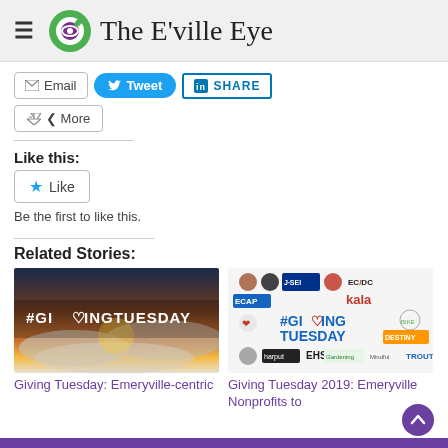The E'ville Eye
[Figure (screenshot): Share buttons: Email, Tweet, LinkedIn Share, More]
Like this:
[Figure (screenshot): Like button with star icon]
Be the first to like this.
Related Stories:
[Figure (photo): Giving Tuesday thumbnail: aerial clouds with orange sunrise and #GIVINGTUESDAY text overlay]
Giving Tuesday: Emeryville-centric
[Figure (photo): Giving Tuesday 2019 nonprofit logos collage with #GIVING TUESDAY text]
Giving Tuesday 2019: Emeryville Nonprofits to